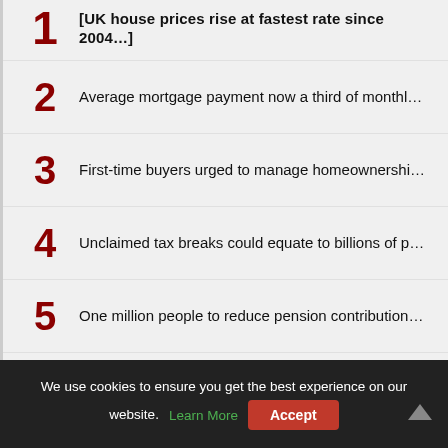1 — [UK house prices rise at fastest rate since 2004 — truncated]
2 — Average mortgage payment now a third of monthl…
3 — First-time buyers urged to manage homeownershi…
4 — Unclaimed tax breaks could equate to billions of p…
5 — One million people to reduce pension contribution…
6 — Truss planning financial regulatory shake-up
7 — Net mortgage borrowing rebounds to £6.6bn in M…
We use cookies to ensure you get the best experience on our website. Learn More  Accept